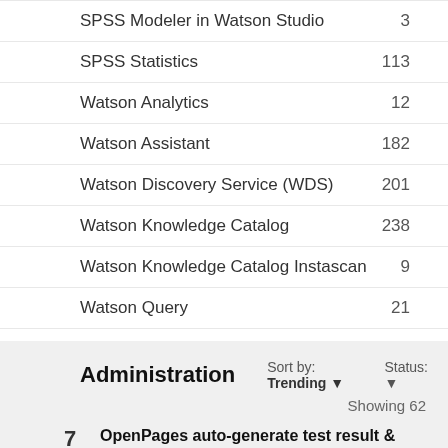SPSS Modeler in Watson Studio  3
SPSS Statistics  113
Watson Analytics  12
Watson Assistant  182
Watson Discovery Service (WDS)  201
Watson Knowledge Catalog  238
Watson Knowledge Catalog Instascan  9
Watson Query  21
Administration
Sort by: Trending ▼   Status: ▼   Showing 62
7  OpenPages auto-generate test result & questionnaire feature  VOTE